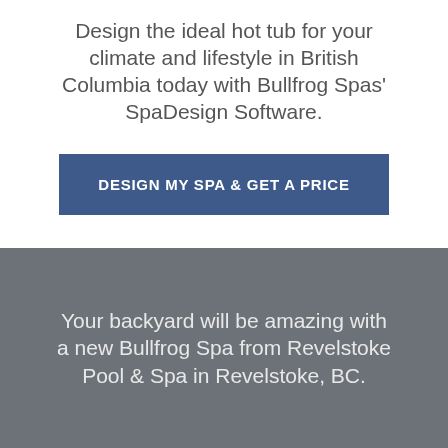Design the ideal hot tub for your climate and lifestyle in British Columbia today with Bullfrog Spas' SpaDesign Software.
DESIGN MY SPA & GET A PRICE
Your backyard will be amazing with a new Bullfrog Spa from Revelstoke Pool & Spa in Revelstoke, BC.